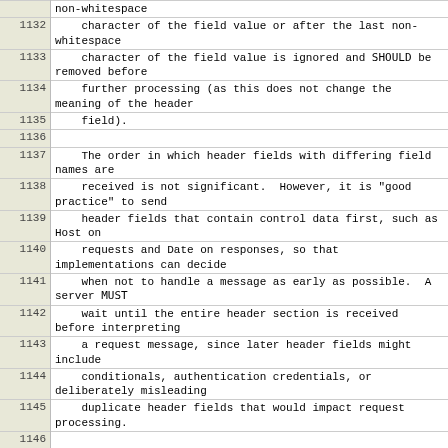| line | content |
| --- | --- |
|  | non-whitespace |
| 1132 |     character of the field value or after the last non-whitespace |
| 1133 |     character of the field value is ignored and SHOULD be removed before |
| 1134 |     further processing (as this does not change the meaning of the header |
| 1135 |     field). |
| 1136 |  |
| 1137 |     The order in which header fields with differing field names are |
| 1138 |     received is not significant.  However, it is "good practice" to send |
| 1139 |     header fields that contain control data first, such as Host on |
| 1140 |     requests and Date on responses, so that implementations can decide |
| 1141 |     when not to handle a message as early as possible.  A server MUST |
| 1142 |     wait until the entire header section is received before interpreting |
| 1143 |     a request message, since later header fields might include |
| 1144 |     conditionals, authentication credentials, or deliberately misleading |
| 1145 |     duplicate header fields that would impact request processing. |
| 1146 |  |
| 1147 |     Multiple header fields with the same field name MUST NOT be sent in a |
| 1148 |     message unless the entire field value for that header field is |
| 1149 |     defined as a comma-separated list [i.e., #(values)]. Multiple header |